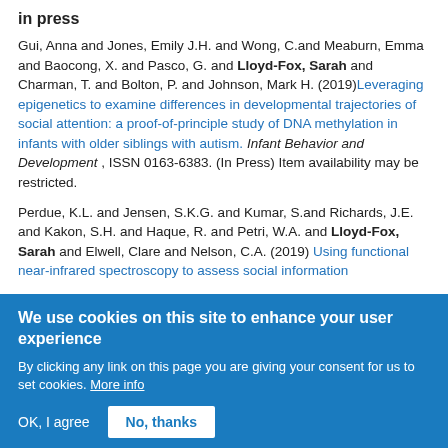in press
Gui, Anna and Jones, Emily J.H. and Wong, C.and Meaburn, Emma and Baocong, X. and Pasco, G. and Lloyd-Fox, Sarah and Charman, T. and Bolton, P. and Johnson, Mark H. (2019) Leveraging epigenetics to examine differences in developmental trajectories of social attention: a proof-of-principle study of DNA methylation in infants with older siblings with autism. Infant Behavior and Development , ISSN 0163-6383. (In Press) Item availability may be restricted.
Perdue, K.L. and Jensen, S.K.G. and Kumar, S.and Richards, J.E. and Kakon, S.H. and Haque, R. and Petri, W.A. and Lloyd-Fox, Sarah and Elwell, Clare and Nelson, C.A. (2019) Using functional near-infrared spectroscopy to assess social information
We use cookies on this site to enhance your user experience
By clicking any link on this page you are giving your consent for us to set cookies. More info
OK, I agree   No, thanks